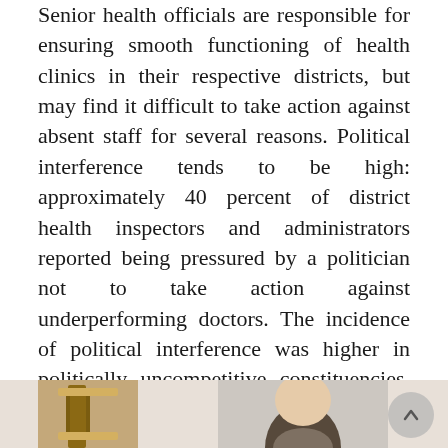Senior health officials are responsible for ensuring smooth functioning of health clinics in their respective districts, but may find it difficult to take action against absent staff for several reasons. Political interference tends to be high: approximately 40 percent of district health inspectors and administrators reported being pressured by a politician not to take action against underperforming doctors. The incidence of political interference was higher in politically uncompetitive constituencies, where politicians won by a comparatively larger margin. In addition, health administrators often do not have access to reliable data on staff attendance. While health officials are expected to inspect clinics monthly, at the time of the study, only 56 percent of clinics in the sample had been inspected in the past two months.
[Figure (photo): Bottom strip showing partial photos of people, partially cropped at bottom of page]